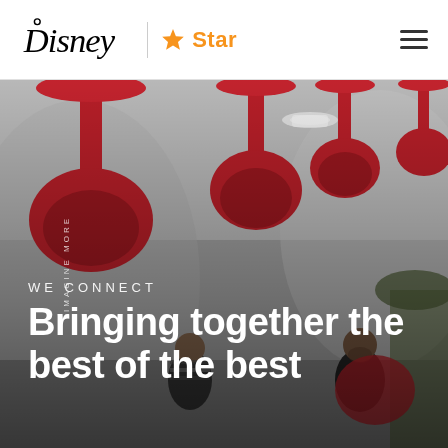[Figure (logo): Disney | Star logo in the header navigation bar]
[Figure (photo): Office interior with distinctive red sculptural pendant pod chairs hanging from ceiling; two people are seated in red pod chairs having a conversation. Text overlaid reads 'WE CONNECT' and 'Bringing together the best of the best'. Vertical text on left reads 'IMAGINE MORE'.]